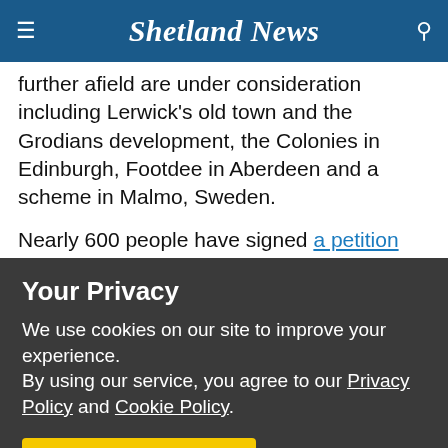Shetland News
further afield are under consideration including Lerwick's old town and the Grodians development, the Colonies in Edinburgh, Footdee in Aberdeen and a scheme in Malmo, Sweden.
Nearly 600 people have signed a petition calling for part of the site to be used for a new hockey pitch. That idea does not feature in the exhibition, but Anderson said: “We know there is
Your Privacy
We use cookies on our site to improve your experience.
By using our service, you agree to our Privacy Policy and Cookie Policy.
✓  I'm OK with that